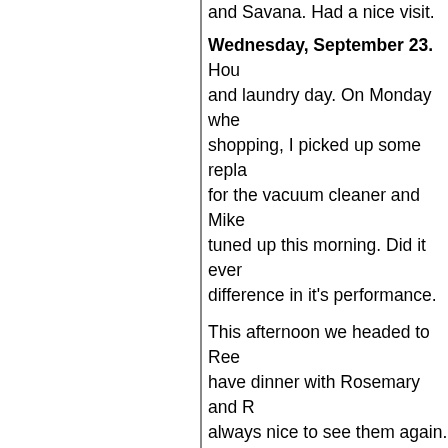and Savana. Had a nice visit.
Wednesday, September 23. Housecleaning and laundry day. On Monday when grocery shopping, I picked up some replacement bags for the vacuum cleaner and Mike got it tuned up this morning. Did it ever make a difference in it's performance.
This afternoon we headed to Rees' to have dinner with Rosemary and Ron. It's always nice to see them again. We have loved having her as a sister-in-law (she's deceased brother Rocco's wife), her family like her new family and are so happy. Their house is lively with children — Paul (age 8 - almost), Rachael (a...), the dog, and 2 cats. Rosemary fixed a delicious Cabbage casserole for dinner, ingredients fresh from her garden. We had a great visit for a few hours. It's a long home for us and they have busy days so we didn't stick around too long.
Thursday, September 24. It was...